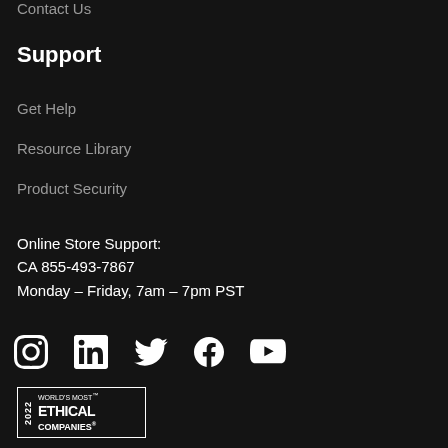Contact Us
Support
Get Help
Resource Library
Product Security
Online Store Support:
CA 855-493-7867
Monday – Friday, 7am – 7pm PST
[Figure (infographic): Social media icons: Instagram, LinkedIn, Twitter, Facebook, YouTube]
[Figure (logo): 2022 World's Most Ethical Companies badge/logo]